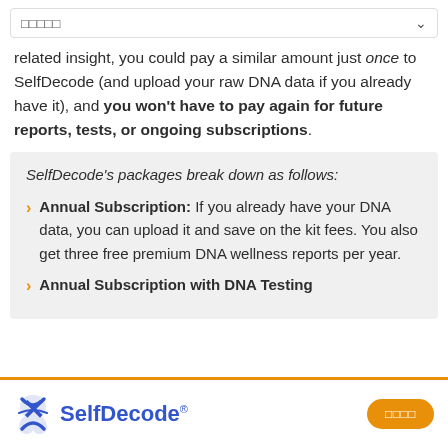□□□□□
related insight, you could pay a similar amount just once to SelfDecode (and upload your raw DNA data if you already have it), and you won't have to pay again for future reports, tests, or ongoing subscriptions.
SelfDecode's packages break down as follows:
Annual Subscription: If you already have your DNA data, you can upload it and save on the kit fees. You also get three free premium DNA wellness reports per year.
Annual Subscription with DNA Testing
SelfDecode